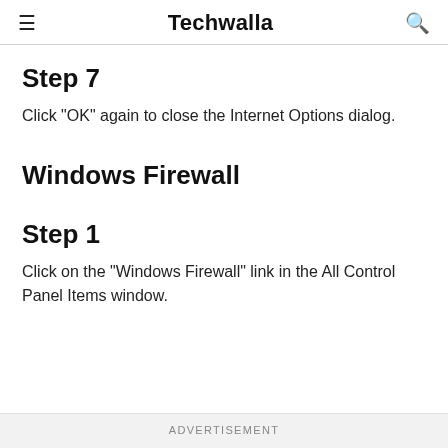Techwalla
Step 7
Click "OK" again to close the Internet Options dialog.
Windows Firewall
Step 1
Click on the "Windows Firewall" link in the All Control Panel Items window.
Advertisement